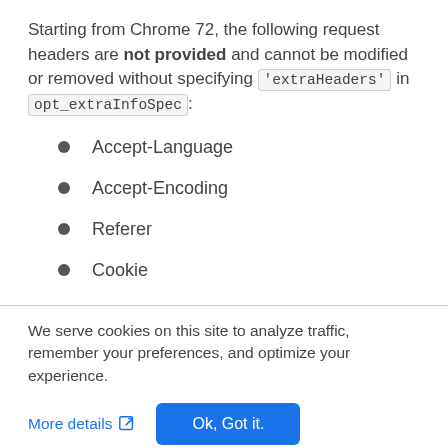Starting from Chrome 72, the following request headers are not provided and cannot be modified or removed without specifying 'extraHeaders' in opt_extraInfoSpec:
Accept-Language
Accept-Encoding
Referer
Cookie
We serve cookies on this site to analyze traffic, remember your preferences, and optimize your experience.
More details  Ok, Got it.